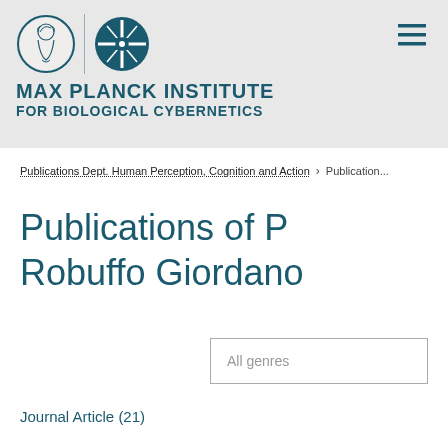[Figure (logo): Max Planck Institute for Biological Cybernetics logo with Minerva medallion and geometric MPI symbol, plus institute name text]
Publications Dept. Human Perception, Cognition and Action  >  Publication...
Publications of P Robuffo Giordano
All genres
Journal Article (21)